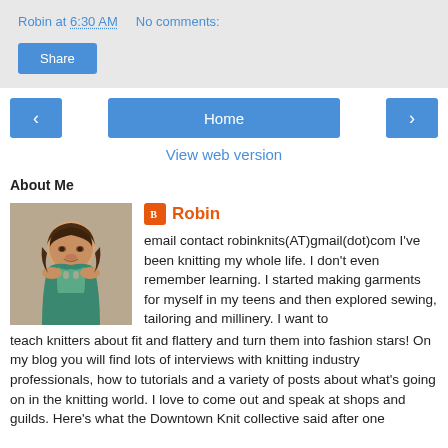Robin at 6:30 AM   No comments:
Share
‹   Home   ›
View web version
About Me
[Figure (photo): Profile photo of Robin, a woman with dark shoulder-length hair wearing a teal floral top, photographed against a grey background.]
Robin
email contact robinknits(AT)gmail(dot)com I've been knitting my whole life. I don't even remember learning. I started making garments for myself in my teens and then explored sewing, tailoring and millinery. I want to teach knitters about fit and flattery and turn them into fashion stars! On my blog you will find lots of interviews with knitting industry professionals, how to tutorials and a variety of posts about what's going on in the knitting world. I love to come out and speak at shops and guilds. Here's what the Downtown Knit collective said after one